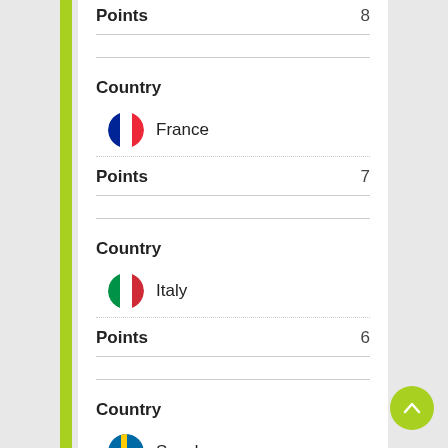Points 8
Country France
Points 7
Country Italy
Points 6
Country Sweden
Points 5